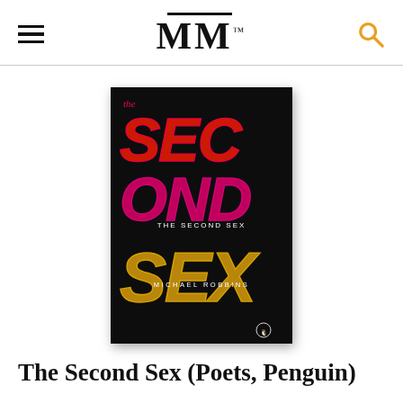MM
[Figure (photo): Book cover of 'The Second Sex' by Michael Robbins, published by Penguin Poets. Black background with large retro-style grooved lettering spelling SEC / OND / SEX in gradient colors (red to pink to purple to gold). The text 'THE SECOND SEX' appears in smaller white letters in the middle, and 'MICHAEL ROBBINS' below that.]
The Second Sex (Poets, Penguin)